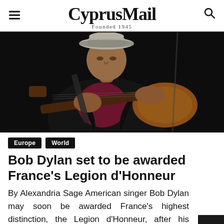CyprusMail — Founded 1945
[Figure (photo): An older man wearing a black jacket and white cowboy hat playing an electric guitar on stage, photographed in dark/moody lighting.]
Europe  World
Bob Dylan set to be awarded France's Legion d'Honneur
By Alexandria Sage American singer Bob Dylan may soon be awarded France's highest distinction, the Legion d'Honneur, after his nomination was reportedly first